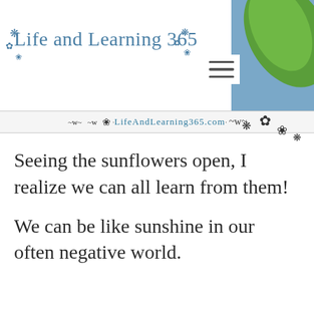[Figure (screenshot): Website header screenshot for 'Life and Learning 365' blog showing logo in cursive blue text with flower decorations, hamburger menu icon, a green leaf/hill photo in top-right corner, and a URL banner reading LifeAndLearning365.com]
Seeing the sunflowers open, I realize we can all learn from them!
We can be like sunshine in our often negative world.